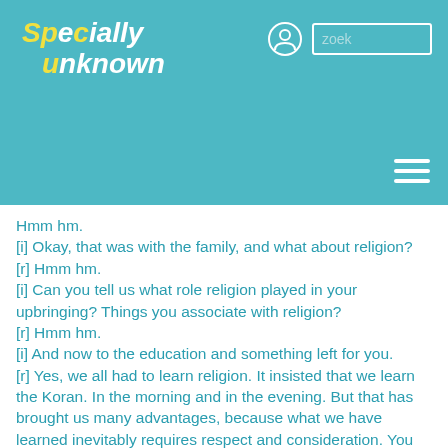[Figure (logo): Specially unknown logo in white and yellow italic text on teal background, with person icon and search box in top right, hamburger menu bottom right]
Hmm hm.
[i] Okay, that was with the family, and what about religion?
[r] Hmm hm.
[i] Can you tell us what role religion played in your upbringing? Things you associate with religion?
[r] Hmm hm.
[i] And now to the education and something left for you.
[r] Yes, we all had to learn religion. It insisted that we learn the Koran. In the morning and in the evening. But that has brought us many advantages, because what we have learned inevitably requires respect and consideration. You also learn how to stand together, who is your age, who is younger, and who is older than yourself. All these things were taught to us in the time when we learned the Koran. We learned such things